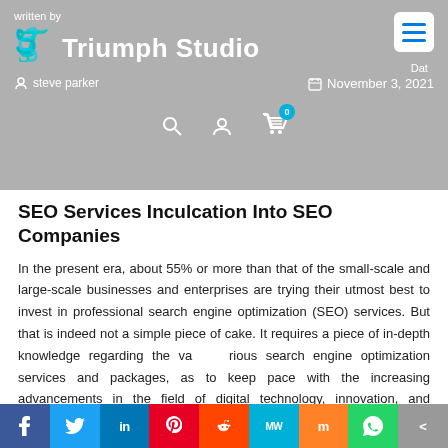Written by Triumph Studio | @steveparker | Date: November 3, 2021
SEO Services Inculcation Into SEO Companies
In the present era, about 55% or more than that of the small-scale and large-scale businesses and enterprises are trying their utmost best to invest in professional search engine optimization (SEO) services. But that is indeed not a simple piece of cake. It requires a piece of in-depth knowledge regarding the various search engine optimization services and packages, as to keep pace with the increasing advancements in the field of digital technology, innovation, and information technology, demands the sheer commitment, passion, time, money, and devotion. Before any company looks for SEO services or considers them.
f | Twitter | in | P | Reddit | MW | Mix | WhatsApp | Share